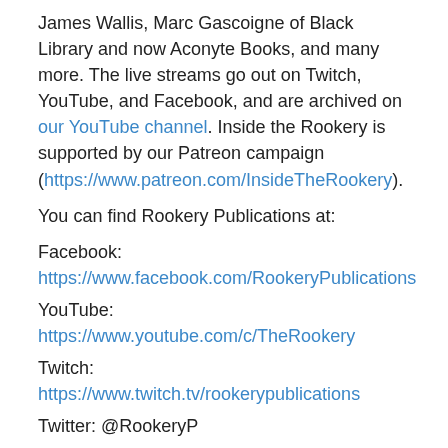James Wallis, Marc Gascoigne of Black Library and now Aconyte Books, and many more. The live streams go out on Twitch, YouTube, and Facebook, and are archived on our YouTube channel. Inside the Rookery is supported by our Patreon campaign (https://www.patreon.com/InsideTheRookery).
You can find Rookery Publications at:
Facebook: https://www.facebook.com/RookeryPublications
YouTube: https://www.youtube.com/c/TheRookery
Twitch: https://www.twitch.tv/rookerypublications
Twitter: @RookeryP
Instagram: https://www.instagram.com/rookerypublications/